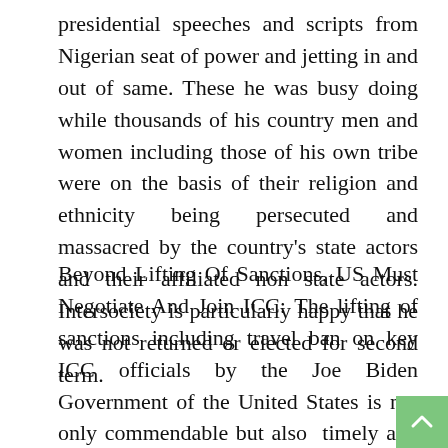presidential speeches and scripts from Nigerian seat of power and jetting in and out of same. These he was busy doing while thousands of his country men and women including those of his own tribe were on the basis of their religion and ethnicity being persecuted and massacred by the country's state actors and their affiliated non state actors. Intersociety is particularly happy that he was not returned or elected for second term.
Beyond Lifting Of Sanctions, US Must Negotiate And Join ICC: The lifting of sanctions including travel ban on key ICC officials by the Joe Biden Government of the United States is not only commendable but also timely and a right step in the right direction. The diplomatic and justice logjam between the US and ICC can only be effectively resolved through dialogue and shifting of